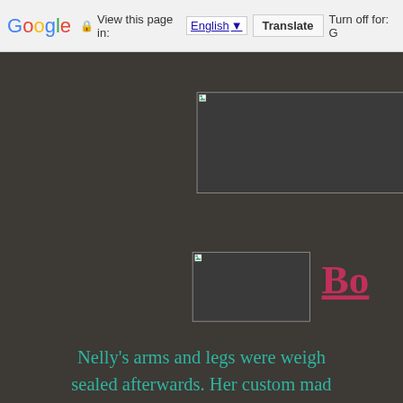Google  View this page in: English  Translate  Turn off for: G
[Figure (photo): Broken image placeholder box, upper right area, dark background]
[Figure (photo): Broken image placeholder box, lower center-right area, dark background]
Bo
Nelly’s arms and legs were weigh sealed afterwards. Her custom mad with baby fat that makes her so